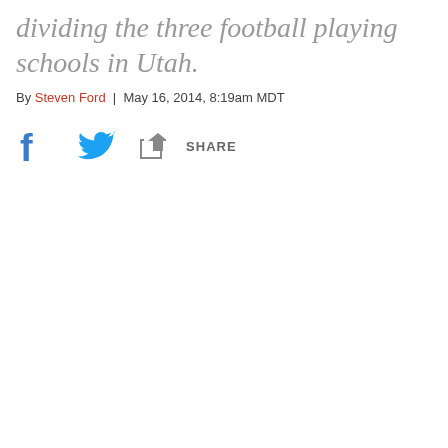dividing the three football playing schools in Utah.
By Steven Ford | May 16, 2014, 8:19am MDT
[Figure (other): Social share bar with Facebook icon, Twitter icon, and Share button]